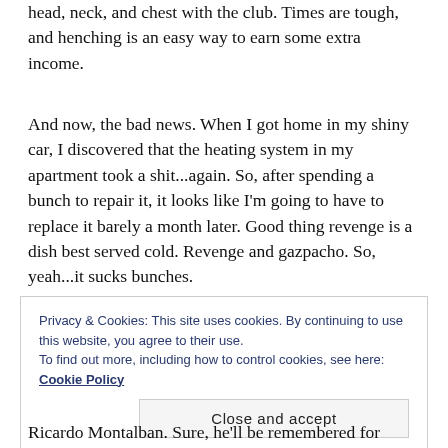head, neck, and chest with the club. Times are tough, and henching is an easy way to earn some extra income.
And now, the bad news. When I got home in my shiny car, I discovered that the heating system in my apartment took a shit...again. So, after spending a bunch to repair it, it looks like I’m going to have to replace it barely a month later. Good thing revenge is a dish best served cold. Revenge and gazpacho. So, yeah...it sucks bunches.
Privacy & Cookies: This site uses cookies. By continuing to use this website, you agree to their use.
To find out more, including how to control cookies, see here: Cookie Policy
Close and accept
Ricardo Montalban. Sure, he’ll be remembered for